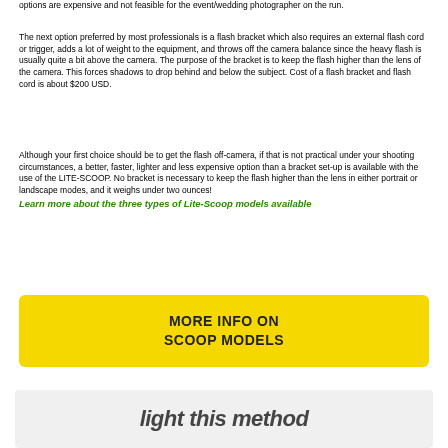options are expensive and not feasible for the event/wedding photographer on the run.
The next option preferred by most professionals is a flash bracket which also requires an external flash cord or trigger, adds a lot of weight to the equipment, and throws off the camera balance since the heavy flash is usually quite a bit above the camera. The purpose of the bracket is to keep the flash higher than the lens of the camera. This forces shadows to drop behind and below the subject. Cost of a flash bracket and flash cord is about $200 USD.
Although your first choice should be to get the flash off-camera, if that is not practical under your shooting circumstances, a better, faster, lighter and less expensive option than a bracket set-up is available with the use of the LITE-SCOOP. No bracket is necessary to keep the flash higher than the lens in either portrait or landscape modes, and it weighs under two ounces!
Learn more about the three types of Lite-Scoop models available
[Figure (other): Yellow button with text MORE INFO ON SCOOP MODELS]
light this method